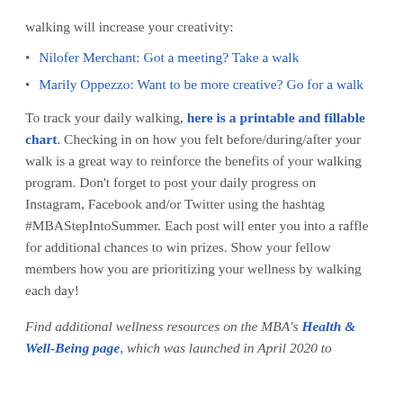walking will increase your creativity:
Nilofer Merchant: Got a meeting? Take a walk
Marily Oppezzo: Want to be more creative? Go for a walk
To track your daily walking, here is a printable and fillable chart. Checking in on how you felt before/during/after your walk is a great way to reinforce the benefits of your walking program. Don't forget to post your daily progress on Instagram, Facebook and/or Twitter using the hashtag #MBAStepIntoSummer. Each post will enter you into a raffle for additional chances to win prizes. Show your fellow members how you are prioritizing your wellness by walking each day!
Find additional wellness resources on the MBA's Health & Well-Being page, which was launched in April 2020 to